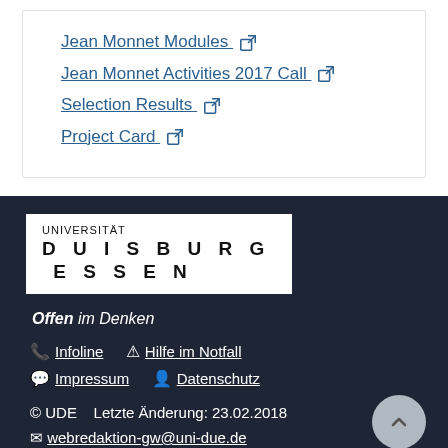Jean Monnet Modules [external link]
Jean Monnet Activities 2017 Call [external link]
Selection Results [external link]
Project Card [external link]
[Figure (logo): Universität Duisburg Essen logo in white box on dark footer]
Offen im Denken
Infoline   Hilfe im Notfall
Impressum   Datenschutz
© UDE   Letzte Änderung: 23.02.2018
webredaktion-gw@uni-due.de